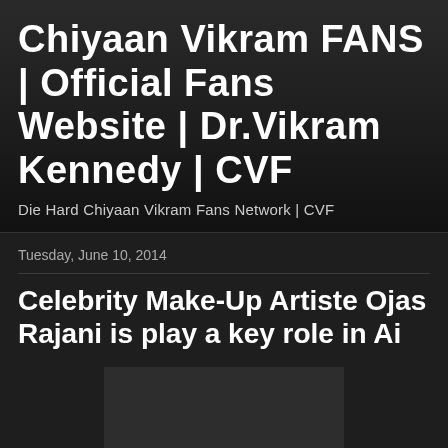Chiyaan Vikram FANS | Official Fans Website | Dr.Vikram Kennedy | CVF
Die Hard Chiyaan Vikram Fans Network | CVF
Tuesday, June 10, 2014
Celebrity Make-Up Artiste Ojas Rajani is play a key role in Ai
[Figure (photo): Dark placeholder image area]